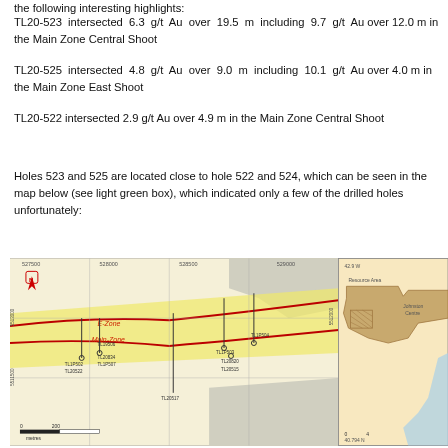the following interesting highlights:
TL20-523 intersected 6.3 g/t Au over 19.5 m including 9.7 g/t Au over 12.0 m in the Main Zone Central Shoot
TL20-525 intersected 4.8 g/t Au over 9.0 m including 10.1 g/t Au over 4.0 m in the Main Zone East Shoot
TL20-522 intersected 2.9 g/t Au over 4.9 m in the Main Zone Central Shoot
Holes 523 and 525 are located close to hole 522 and 524, which can be seen in the map below (see light green box), which indicated only a few of the drilled holes unfortunately:
[Figure (map): Geological map showing drill hole locations including TL19505, TL19506, TL20517, TL20519, TL20520, TL20522, TL20524, TL20834, TL1P502, TL1P504, TL1P507, TL20820, TL20515, and others, with E-Zone and Main Zone labeled, scale bar 0-200 metres, inset map showing resource area context.]